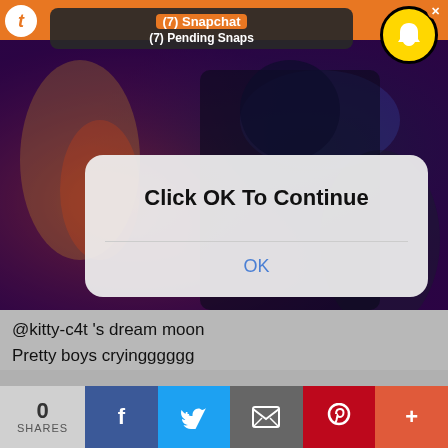[Figure (screenshot): Screenshot of a mobile browser showing a Tumblr page with a Snapchat notification overlay and a modal dialog saying 'Click OK To Continue' with an OK button, overlaid on a colorful fantasy/gaming background image]
@kitty-c4t 's dream moon
Pretty boys cryingggggg
0 SHARES